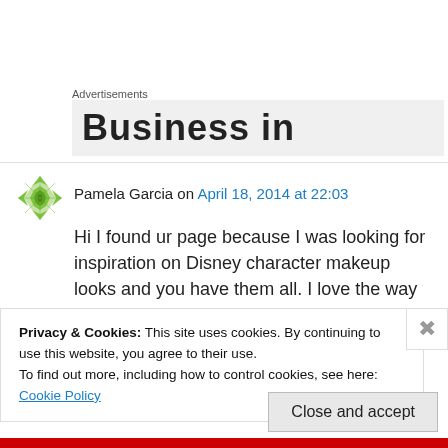Advertisements
[Figure (screenshot): Partial advertisement banner showing bold text 'Business in' on grey background]
Pamela Garcia on April 18, 2014 at 22:03
Hi I found ur page because I was looking for inspiration on Disney character makeup looks and you have them all. I love the way you captured the characters and put your twist on
Privacy & Cookies: This site uses cookies. By continuing to use this website, you agree to their use.
To find out more, including how to control cookies, see here: Cookie Policy